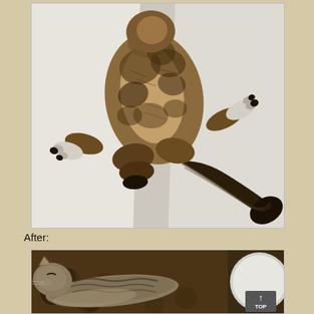[Figure (photo): A fluffy cat lying on its back on white bedding, with paws up, showing its belly. The cat has brown, black, and white fur with a dark bushy tail.]
After:
[Figure (photo): A tabby cat lying on a brown patterned cushion/bed, looking sleepy or resting. A white circular object is partially visible on the right side. A 'TOP' navigation button with an upward arrow is overlaid in the bottom-right corner.]